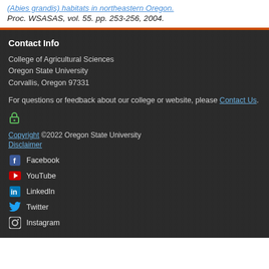(Abies grandis) habitats in northeastern Oregon. Proc. WSASAS, vol. 55. pp. 253-256, 2004.
Contact Info
College of Agricultural Sciences
Oregon State University
Corvallis, Oregon 97331
For questions or feedback about our college or website, please Contact Us.
Copyright ©2022 Oregon State University
Disclaimer
Facebook
YouTube
LinkedIn
Twitter
Instagram